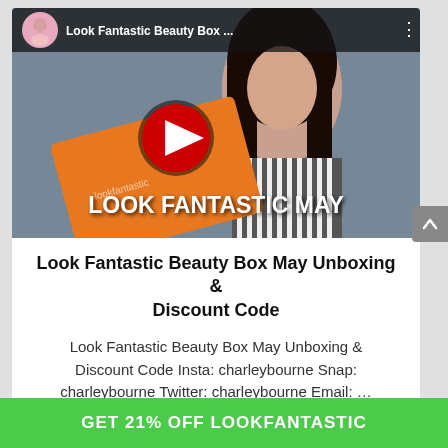[Figure (screenshot): YouTube video thumbnail showing a woman holding an orange Look Fantastic box, with text 'LOOK FANTASTIC MAY' overlaid, YouTube play button in center, and channel info bar at top with avatar and title 'Look Fantastic Beauty Box ...' ]
Look Fantastic Beauty Box May Unboxing & Discount Code
Look Fantastic Beauty Box May Unboxing & Discount Code Insta: charleybourne Snap: charleybourne Twitter: charleybourne Email: …
GET 21% OFF LOOKFANTASTIC